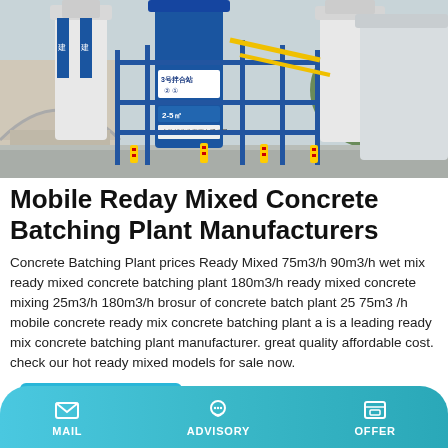[Figure (photo): Concrete batching plant with large blue silos and yellow/red safety bollards, Chinese text on signage, mountain/bridge background]
Mobile Reday Mixed Concrete Batching Plant Manufacturers
Concrete Batching Plant prices Ready Mixed 75m3/h 90m3/h wet mix ready mixed concrete batching plant 180m3/h ready mixed concrete mixing 25m3/h 180m3/h brosur of concrete batch plant 25 75m3 /h mobile concrete ready mix concrete batching plant a is a leading ready mix concrete batching plant manufacturer. great quality affordable cost. check our hot ready mixed models for sale now.
Learn More
MAIL   ADVISORY   OFFER